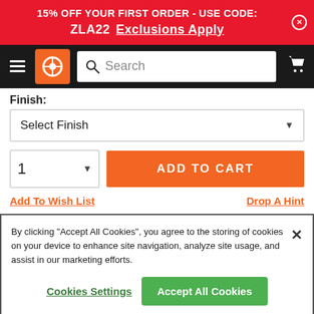15% OFF YOUR FIRST ORDER - USE CODE: ZLA22  Exclusions Apply
[Figure (screenshot): Navigation bar with hamburger menu, orange logo with wheel icon, search box, and cart icon]
Finish:
Select Finish
1
ADD TO CART
Add To Wish List
Drop A Hint
By clicking “Accept All Cookies”, you agree to the storing of cookies on your device to enhance site navigation, analyze site usage, and assist in our marketing efforts.
Cookies Settings
Accept All Cookies